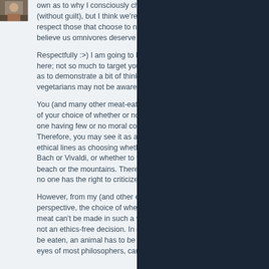[Figure (photo): Small avatar/profile photo thumbnail in top left corner of comment]
own as to why I consciously choose to eat meat (without guilt), but I think we're all mature here. I respect those that choose to not eat meat, I believe us omnivores deserve the same."
Respectfully :>) I am going to have to disagree here; not so much to target you or point fingers as to demonstrate a bit of thinking that non-vegetarians may not be aware of.
You (and many other meat-eaters) no doubt think of your choice of whether or not to eat meat as one having few or no moral consequences. Therefore, you may see it as along the same ethical lines as choosing whether to listen to Bach or Vivaldi, or whether to take a trip to the beach or the mountains. Therefore, you feel that no one has the right to criticize that decision.
However, from my (and other ethical vegetarians) perspective, the choice of whether or not to eat meat can't be made in such a way, because it is not an ethics-free decision. In order for meat to be eaten, an animal has to be harmed. In the eyes of most philosophers, causing